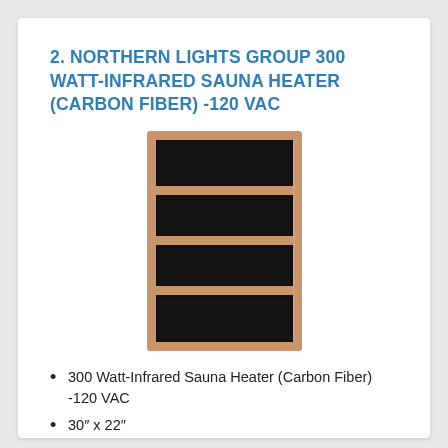2. NORTHERN LIGHTS GROUP 300 WATT-INFRARED SAUNA HEATER (CARBON FIBER) -120 VAC
[Figure (photo): Product photo of a rectangular infrared sauna heater panel with a wooden cedar frame and four black carbon fiber heating elements visible through a grid frame, oriented vertically.]
300 Watt-Infrared Sauna Heater (Carbon Fiber) -120 VAC
30″ x 22″
UL Certified
120 VAC